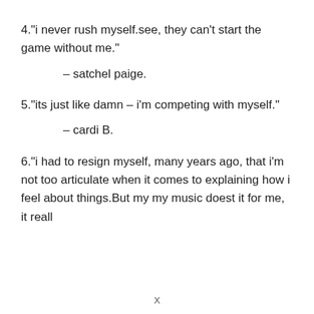4."i never rush myself.see, they can't start the game without me."
– satchel paige.
5."its just like damn – i'm competing with myself."
– cardi B.
6."i had to resign myself, many years ago, that i'm not too articulate when it comes to explaining how i feel about things.But my my music doest it for me, it reall
X